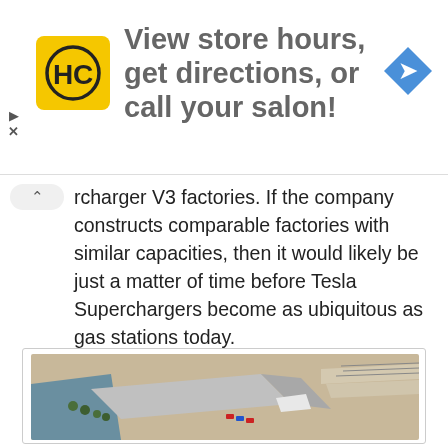[Figure (other): Advertisement banner: HC salon logo (yellow square with HC letters), text 'View store hours, get directions, or call your salon!', blue diamond navigation arrow icon]
rcharger V3 factories. If the company constructs comparable factories with similar capacities, then it would likely be just a matter of time before Tesla Superchargers become as ubiquitous as gas stations today.
[Figure (photo): Aerial drone photograph of a large industrial factory building near a waterway, with roads and railway lines visible in the background, surrounded by trees and parking areas.]